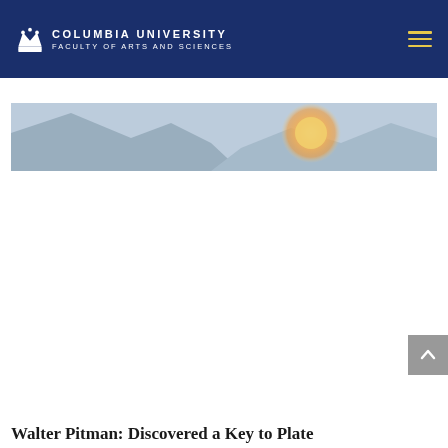Columbia University Faculty of Arts and Sciences
[Figure (photo): Cropped landscape photo showing mountains and a glowing orange/golden orb (sun or moon) against a blue-grey sky]
Walter Pitman: Discovered a Key to Plate